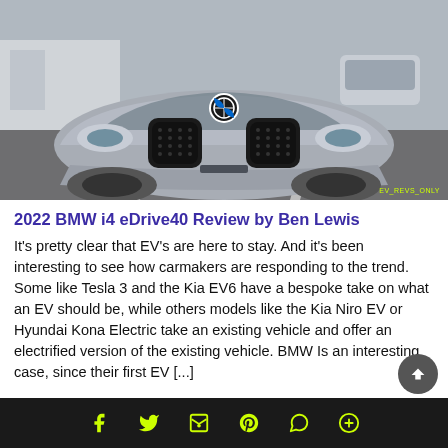[Figure (photo): Front view of a silver BMW i4 electric car parked in a parking lot, showing the large kidney grille. Watermark reads 'EV_REVS_ONLY' in bottom right.]
2022 BMW i4 eDrive40 Review by Ben Lewis
It’s pretty clear that EV’s are here to stay. And it’s been interesting to see how carmakers are responding to the trend. Some like Tesla 3 and the Kia EV6 have a bespoke take on what an EV should be, while others models like the Kia Niro EV or Hyundai Kona Electric take an existing vehicle and offer an electrified version of the existing vehicle. BMW Is an interesting case, since their first EV [...]
[Figure (infographic): Bottom share bar with social media icons: Facebook, Twitter, Email/Car icon, Pinterest, WhatsApp, and Plus sign, all in yellow-green on dark background.]